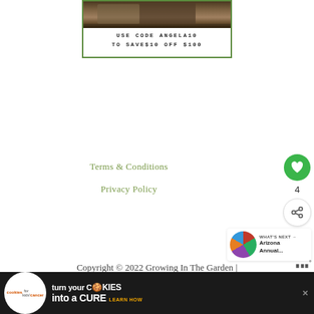[Figure (photo): Promotional box with a photo of garden/soil content at top, followed by coupon text. Green border around the box.]
USE CODE ANGELA10
TO SAVE$10 OFF $100
Terms & Conditions
Privacy Policy
4
WHAT'S NEXT → Arizona Annual...
Copyright © 2022 Growing In The Garden |
[Figure (screenshot): Advertisement banner: 'cookies for kids cancer - turn your COOKIES into a CURE LEARN HOW' on dark background]